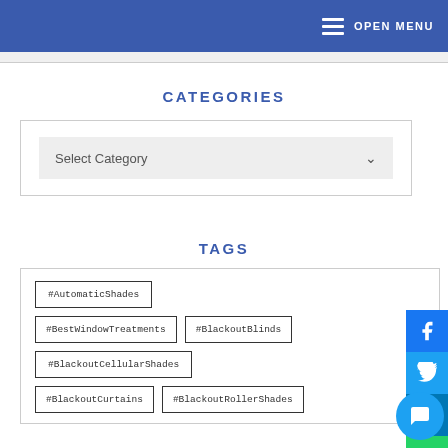OPEN MENU
CATEGORIES
Select Category
TAGS
#AutomaticShades
#BestWindowTreatments
#BlackoutBlinds
#BlackoutCellularShades
#BlackoutCurtains
#BlackoutRollerShades